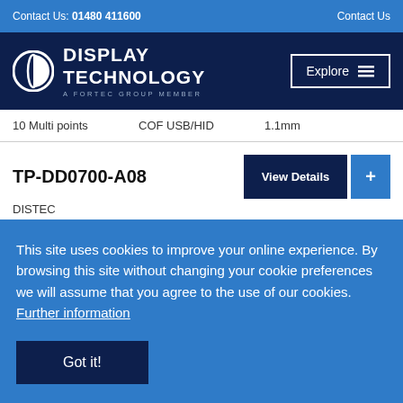Contact Us: 01480 411600  |  Contact Us
[Figure (logo): Display Technology logo - A Fortec Group Member, with circular icon, white text on dark navy background. Explore button with hamburger menu icon on right.]
10 Multi points   COF USB/HID   1.1mm
TP-DD0700-A08
DISTEC
Diagonal   Format   Touch
This site uses cookies to improve your online experience. By browsing this site without changing your cookie preferences we will assume that you agree to the use of our cookies. Further information
Got it!